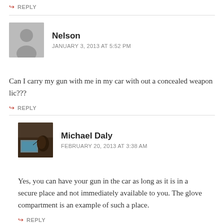↩ REPLY
Nelson
JANUARY 3, 2013 AT 5:52 PM
Can I carry my gun with me in my car with out a concealed weapon lic???
↩ REPLY
Michael Daly
FEBRUARY 20, 2013 AT 3:38 AM
Yes, you can have your gun in the car as long as it is in a secure place and not immediately available to you. The glove compartment is an example of such a place.
↩ REPLY